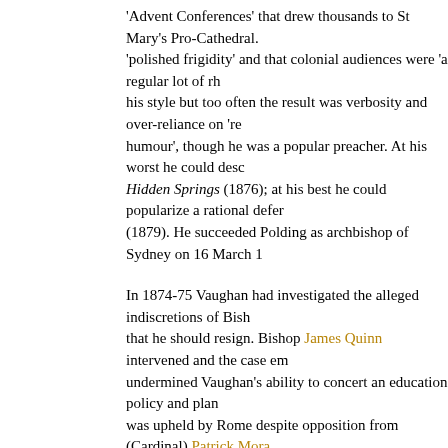'Advent Conferences' that drew thousands to St Mary's Pro-Cathedral. 'polished frigidity' and that colonial audiences were 'a regular lot of rh his style but too often the result was verbosity and over-reliance on 're humour', though he was a popular preacher. At his worst he could desc Hidden Springs (1876); at his best he could popularize a rational defer (1879). He succeeded Polding as archbishop of Sydney on 16 March 1
In 1874-75 Vaughan had investigated the alleged indiscretions of Bish that he should resign. Bishop James Quinn intervened and the case em undermined Vaughan's ability to concert an education policy and plan was upheld by Rome despite opposition from (Cardinal) Patrick Mora masonry', he influenced the appointment of Elzear Torreggiani as O'M Vaughan administered the diocese of Armidale and was given 'the hate against Quinn; he recommended the appointment of a coadjutor with s 1881 and his brother Bishop Matthew Quinn accused Vaughan of pers
He found New South Wales Denominational education on the defensiv 'godless' secular education 'in the end', so Catholics must prepare to o own resources. Ready to take the initiative in rousing Catholics with 'a handicapped by the distrustful suffragans. Faced with plans for state g of the strong Parkes-Robertson coalition ministry, he was delighted wh 1879 t Archbishop ti M left V h d ft